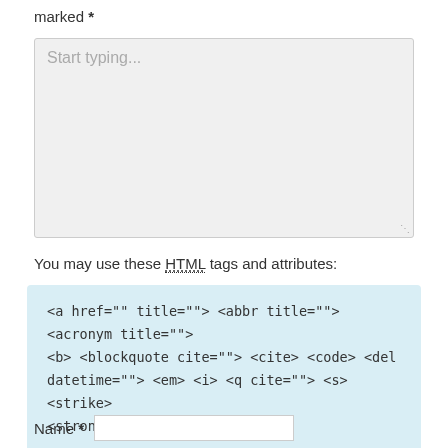marked *
[Figure (other): Large textarea input box with placeholder text 'Start typing...' and a resize handle in the bottom-right corner]
You may use these HTML tags and attributes:
<a href="" title=""> <abbr title=""> <acronym title=""> <b> <blockquote cite=""> <cite> <code> <del datetime=""> <em> <i> <q cite=""> <s> <strike> <strong>
Name *